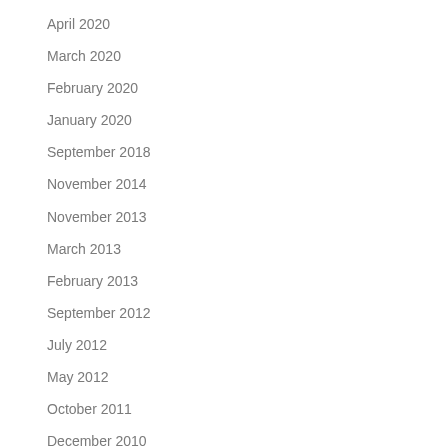April 2020
March 2020
February 2020
January 2020
September 2018
November 2014
November 2013
March 2013
February 2013
September 2012
July 2012
May 2012
October 2011
December 2010
August 2010